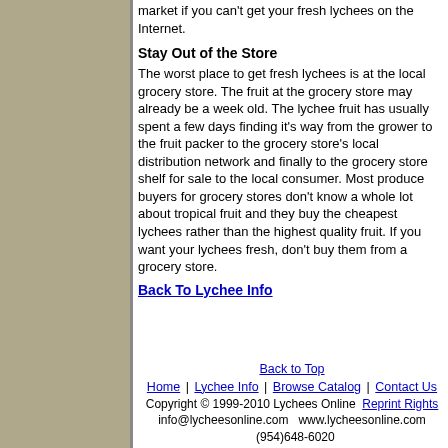market if you can't get your fresh lychees on the Internet.
Stay Out of the Store
The worst place to get fresh lychees is at the local grocery store. The fruit at the grocery store may already be a week old. The lychee fruit has usually spent a few days finding it's way from the grower to the fruit packer to the grocery store's local distribution network and finally to the grocery store shelf for sale to the local consumer. Most produce buyers for grocery stores don't know a whole lot about tropical fruit and they buy the cheapest lychees rather than the highest quality fruit. If you want your lychees fresh, don't buy them from a grocery store.
Back To Lychee Info
Back to Top
Home | Lychee Info | Browse Catalog | Contact Us
Copyright © 1999-2010 Lychees Online  Reprint Rights
info@lycheesonline.com   www.lycheesonline.com   (954)648-6020